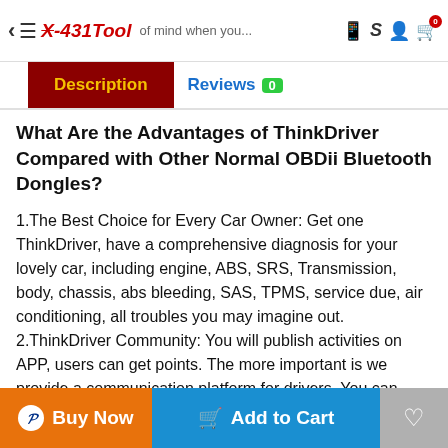X-431Tool — navigation bar with back, menu, logo, tagline, and icons
Description | Reviews 0
What Are the Advantages of ThinkDriver Compared with Other Normal OBDii Bluetooth Dongles?
1.The Best Choice for Every Car Owner: Get one ThinkDriver, have a comprehensive diagnosis for your lovely car, including engine, ABS, SRS, Transmission, body, chassis, abs bleeding, SAS, TPMS, service due, air conditioning, all troubles you may imagine out.
2.ThinkDriver Community: You will publish activities on APP, users can get points. The more important is we provide a communication platform for drivers. You can acknowledge and share maintenance experience, also, you can follow other users and have a live chat with them.
3.Get Points to Purchase Services: Every users can get
Buy Now | Add to Cart | Wishlist